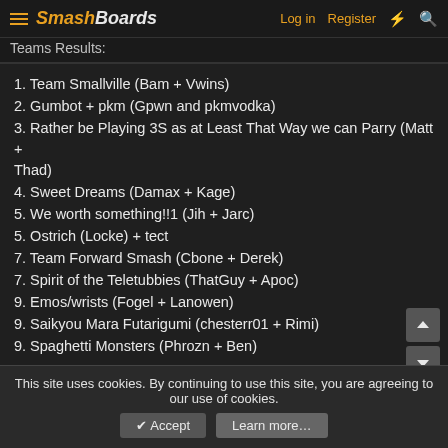SmashBoards | Log in | Register
Teams Results:
1. Team Smallville (Bam + Vwins)
2. Gumbot + pkm (Gpwn and pkmvodka)
3. Rather be Playing 3S as at Least That Way we can Parry (Matt + Thad)
4. Sweet Dreams (Damax + Kage)
5. We worth something!!1 (Jih + Jarc)
5. Ostrich (Locke) + tect
7. Team Forward Smash (Cbone + Derek)
7. Spirit of the Teletubbies (ThatGuy + Apoc)
9. Emos/wrists (Fogel + Lanowen)
9. Saikyou Mara Futarigumi (chesterr01 + Rimi)
9. Spaghetti Monsters (Phrozn + Ben)
The actual brackets are in ThatGuy's post, lower down on this page.
Videos:
This site uses cookies. By continuing to use this site, you are agreeing to our use of cookies.